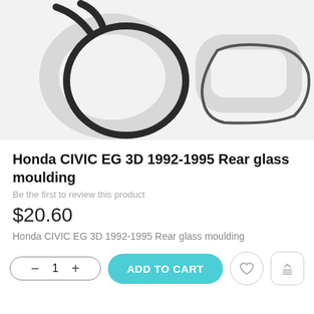[Figure (photo): Product image showing two views of a Honda CIVIC EG 3D rear glass moulding: a circular/coiled rubber moulding on the left and a trapezoidal outline shape on the right, on a light grey background.]
Honda CIVIC EG 3D 1992-1995 Rear glass moulding
Be the first to review this product
$20.60
Honda CIVIC EG 3D 1992-1995 Rear glass moulding